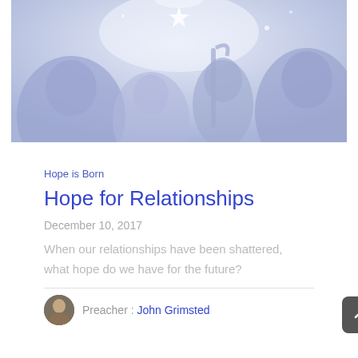[Figure (illustration): Blue watercolor illustration with silhouettes of nativity scene figures — shepherds, wisemen, star — in light blue/periwinkle tones]
Hope is Born
Hope for Relationships
December 10, 2017
When our relationships have been shattered, what hope do we have for the future?
Preacher : John Grimsted